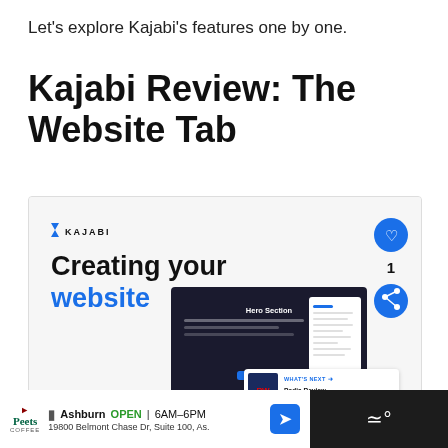Let's explore Kajabi's features one by one.
Kajabi Review: The Website Tab
[Figure (screenshot): Screenshot of a Kajabi tutorial video thumbnail showing 'Creating your website' with a Kajabi logo, a dark hero section preview, a right-side panel, heart and share action buttons, a '1' count, and a 'What's Next' overlay card showing 'Podia Review 2022: Detail...']
Ashburn OPEN 6AM–6PM 19800 Belmont Chase Dr, Suite 100, As.